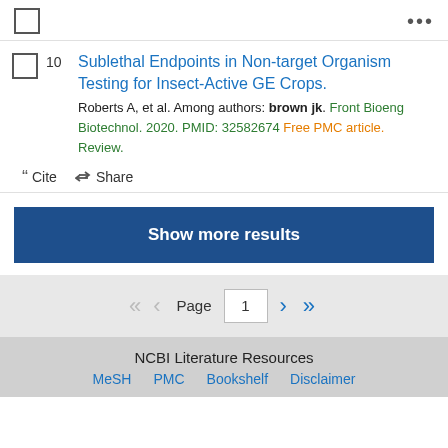10. Sublethal Endpoints in Non-target Organism Testing for Insect-Active GE Crops. Roberts A, et al. Among authors: brown jk. Front Bioeng Biotechnol. 2020. PMID: 32582674 Free PMC article. Review.
Cite  Share
Show more results
Page 1
NCBI Literature Resources  MeSH  PMC  Bookshelf  Disclaimer